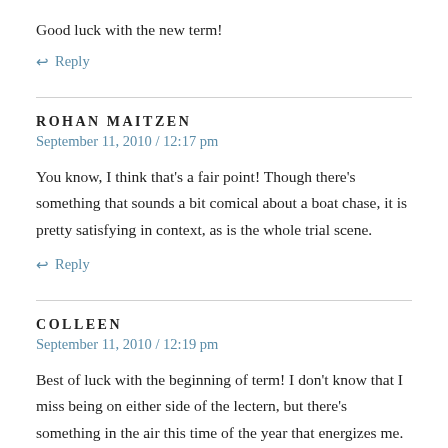Good luck with the new term!
↩ Reply
ROHAN MAITZEN
September 11, 2010 / 12:17 pm
You know, I think that's a fair point! Though there's something that sounds a bit comical about a boat chase, it is pretty satisfying in context, as is the whole trial scene.
↩ Reply
COLLEEN
September 11, 2010 / 12:19 pm
Best of luck with the beginning of term! I don't know that I miss being on either side of the lectern, but there's something in the air this time of the year that energizes me.